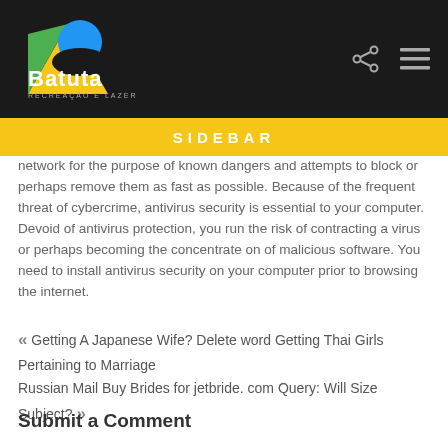Batuta Recreação e Lazer — SIDEBAR
network for the purpose of known dangers and attempts to block or perhaps remove them as fast as possible. Because of the frequent threat of cybercrime, antivirus security is essential to your computer. Devoid of antivirus protection, you run the risk of contracting a virus or perhaps becoming the concentrate on of malicious software. You need to install antivirus security on your computer prior to browsing the internet.
« Getting A Japanese Wife? Delete word Getting Thai Girls Pertaining to Marriage
Russian Mail Buy Brides for jetbride. com Query: Will Size Subject? »
Submit a Comment